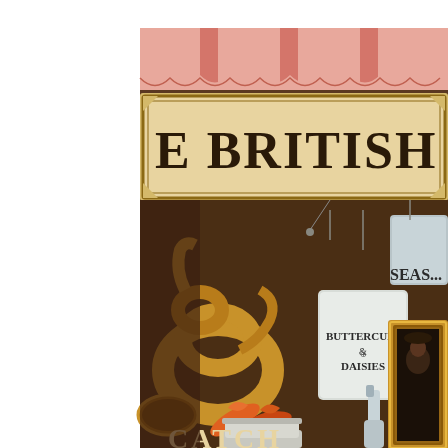[Figure (photo): A photograph of a British Isles themed shop window display filled with vintage and rustic items. At the top is a pink scalloped awning. Below is a large decorative sign reading 'E BRITISH ISLES' in ornate lettering on a cream/gold background. The display contains a brass tuba/horn instrument, various white ceramic pots and buckets including one labeled 'BUTTERCUPS & DAISIES', a partial sign reading 'SEAS...' (SEASIDE), a gold ornate picture frame with a dark portrait, orange crab claw crackers, metal buckets, and at the bottom a partial text reading 'CATCH'. The overall palette is warm tones of gold, cream, brown with accents of orange and pale blue-grey.]